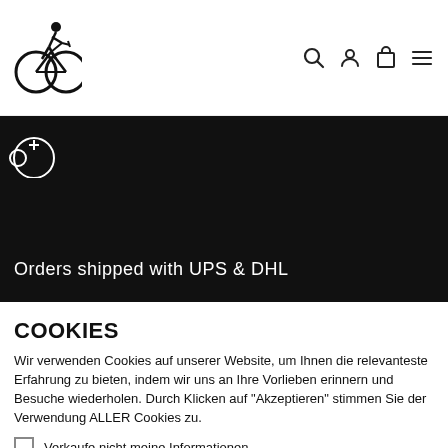[Figure (logo): Bicycle shop logo: cyclist on a bicycle icon in a circle, black line art on white background]
[Figure (logo): Navigation icons: search, account, cart, hamburger menu]
Orders shipped with UPS & DHL
COOKIES
Wir verwenden Cookies auf unserer Website, um Ihnen die relevanteste Erfahrung zu bieten, indem wir uns an Ihre Vorlieben erinnern und Besuche wiederholen. Durch Klicken auf "Akzeptieren" stimmen Sie der Verwendung ALLER Cookies zu.
Verkaufe nicht meine Informationen·
Cookie Einstellungen
AKZEPTIEREN
ABLEHNEN
Mehr lesen